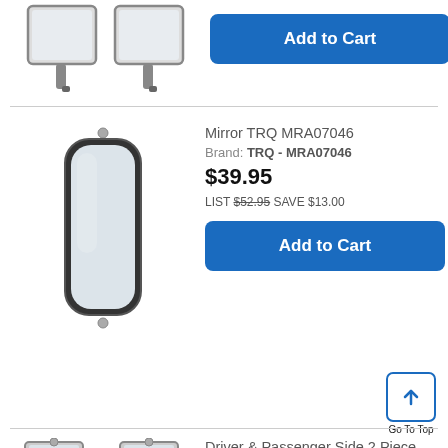[Figure (photo): Two side mirror heads shown side by side (partial, top of page)]
Add to Cart
Mirror TRQ MRA07046
Brand: TRQ - MRA07046
$39.95
LIST $52.95 SAVE $13.00
[Figure (photo): Single tall rectangular mirror with rounded corners and chrome/black frame]
Add to Cart
Go To Top
Driver & Passenger Side 2 Piece Mirror Set TRQ MRA09053
2 reviews
Brand: TRQ - MRA09053
[Figure (photo): Two rectangular mirrors shown at bottom of page (partial)]